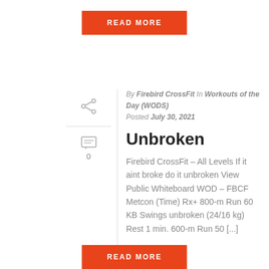[Figure (other): Red READ MORE button at top]
By Firebird CrossFit In Workouts of the Day (WODS) Posted July 30, 2021
Unbroken
Firebird CrossFit – All Levels If it aint broke do it unbroken View Public Whiteboard WOD – FBCF Metcon (Time) Rx+ 800-m Run 60 KB Swings unbroken (24/16 kg) Rest 1 min. 600-m Run 50 [...]
[Figure (other): Red READ MORE button at bottom]